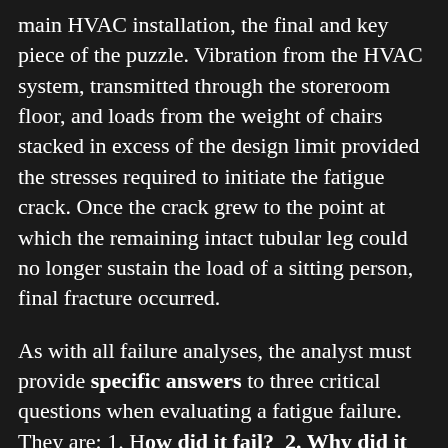main HVAC installation, the final and key piece of the puzzle. Vibration from the HVAC system, transmitted through the storeroom floor, and loads from the weight of chairs stacked in excess of the design limit provided the stresses required to initiate the fatigue crack. Once the crack grew to the point at which the remaining intact tubular leg could no longer sustain the load of a sitting person, final fracture occurred.
As with all failure analyses, the analyst must provide specific answers to three critical questions when evaluating a fatigue failure. They are: 1. How did it fail?  2. Why did it fail?  and  3. What will prevent future failures?  If you have commissioned a failure analysis, and